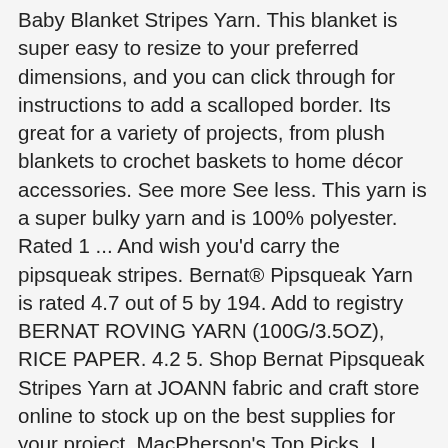Baby Blanket Stripes Yarn. This blanket is super easy to resize to your preferred dimensions, and you can click through for instructions to add a scalloped border. Its great for a variety of projects, from plush blankets to crochet baskets to home décor accessories. See more See less. This yarn is a super bulky yarn and is 100% polyester. Rated 1 ... And wish you'd carry the pipsqueak stripes. Bernat® Pipsqueak Yarn is rated 4.7 out of 5 by 194. Add to registry BERNAT ROVING YARN (100G/3.5OZ), RICE PAPER. 4.2 5. Shop Bernat Pipsqueak Stripes Yarn at JOANN fabric and craft store online to stock up on the best supplies for your project. MacPherson's Top Picks. I loved the color change. Great for a variety of projects, from plush blankets to crochet baskets, and home decor accessories. Available in adorable bright and neutral colours. Image Zoom. Universal Major. Featuring a fun range of shades this yarn is easy to care for and is great for kids and babies. On Sale! Seller assumes all responsibility for this listing. Was: £12.50 Now: £9.50. Part No: 021011 BERNAT SOFTEE BABY COTTON 3PK 120G-DUCKLING. 5 étoiles sur 5 (778) 778 avis